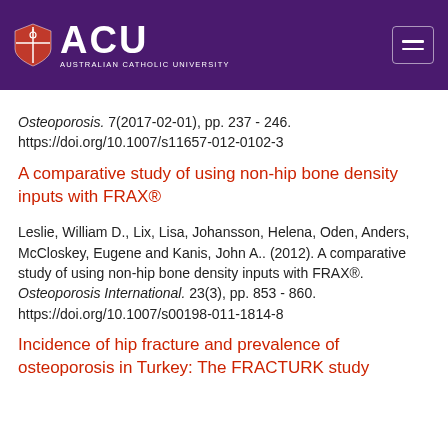[Figure (logo): Australian Catholic University (ACU) logo with shield icon, white text on purple background, and hamburger menu icon on the right]
Osteoporosis. 7(2017-02-01), pp. 237 - 246. https://doi.org/10.1007/s11657-012-0102-3
A comparative study of using non-hip bone density inputs with FRAX®
Leslie, William D., Lix, Lisa, Johansson, Helena, Oden, Anders, McCloskey, Eugene and Kanis, John A.. (2012). A comparative study of using non-hip bone density inputs with FRAX®. Osteoporosis International. 23(3), pp. 853 - 860. https://doi.org/10.1007/s00198-011-1814-8
Incidence of hip fracture and prevalence of osteoporosis in Turkey: The FRACTURK study